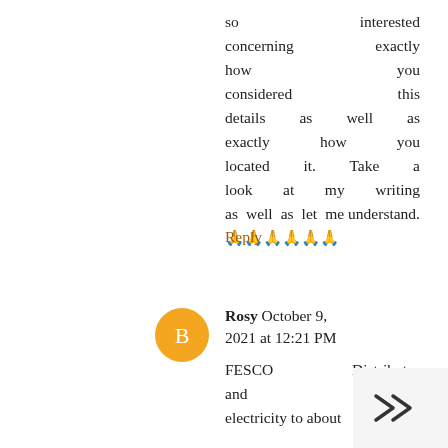so interested concerning exactly how you considered this details as well as exactly how you located it. Take a look at my writing as well as let me understand.🙏🙏🙏🙏🙏🙏
Reply
Rosy October 9, 2021 at 12:21 PM
FESCO Distributes and supplies electricity to about